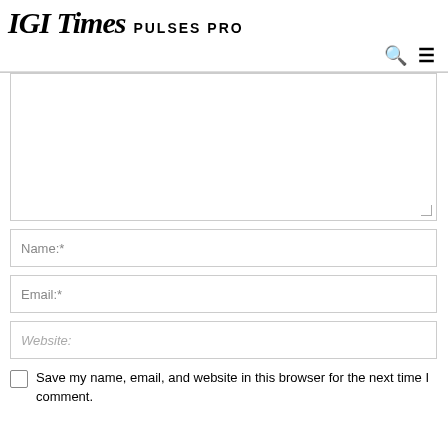IGI Times PULSES PRO
[Figure (screenshot): Comment form with textarea, Name, Email, Website fields and a save checkbox]
Save my name, email, and website in this browser for the next time I comment.